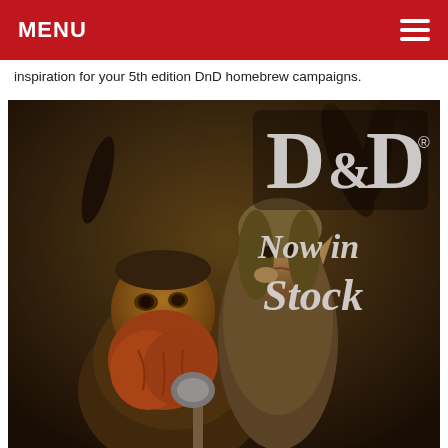MENU
inspiration for your 5th edition DnD homebrew campaigns.
[Figure (illustration): Dungeons and Dragons fantasy artwork showing a dwarf and an elf woman with the D&D logo and text 'Now in Stock' in gothic lettering on a dark, earthy toned background]